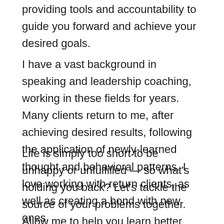providing tools and accountability to guide you forward and achieve your desired goals.
I have a vast background in speaking and leadership coaching, working in these fields for years. Many clients return to me, after achieving desired results, following the application of newly-learned thought and behavioral patterns. I love working with return clients, as well as creating a bond with new ones.
Life is simply too short to be unhappy or unfulfilled — so what's holding you back? Let's tackle the source of your problems together.  Allow me to help you learn better ways to handle the issues that are standing in the way of your dreams and pursuits. Get in touch with me today, and let